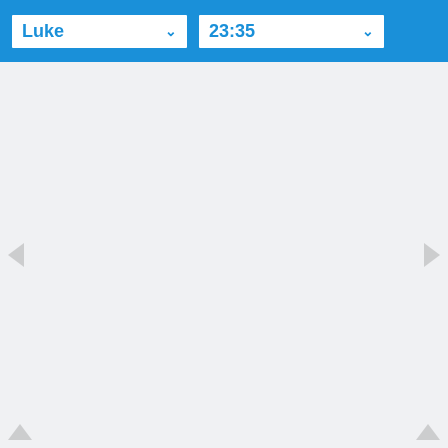[Figure (screenshot): Bible app navigation UI with a blue header bar containing two dropdown selectors: 'Luke' (book selector) and '23:35' (chapter:verse selector). The main content area is light gray/empty. Navigation arrows appear on left, right, and bottom corners.]